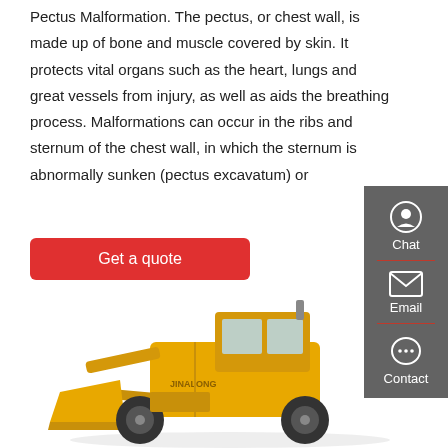Pectus Malformation. The pectus, or chest wall, is made up of bone and muscle covered by skin. It protects vital organs such as the heart, lungs and great vessels from injury, as well as aids the breathing process. Malformations can occur in the ribs and sternum of the chest wall, in which the sternum is abnormally sunken (pectus excavatum) or
Get a quote
[Figure (other): Sidebar panel with dark gray background containing Chat (headset icon), Email (envelope icon), and Contact (speech bubble icon) options with red dividers]
[Figure (photo): Yellow JINALONG front-end wheel loader construction machine photographed from the side-front angle on white background]